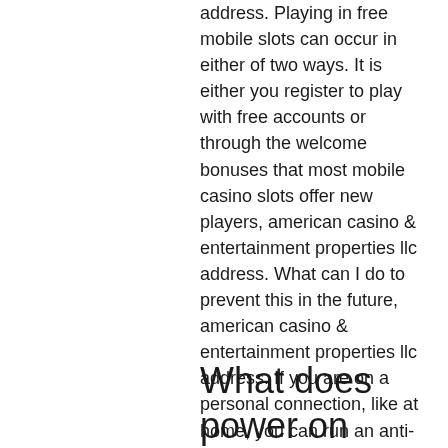address. Playing in free mobile slots can occur in either of two ways. It is either you register to play with free accounts or through the welcome bonuses that most mobile casino slots offer new players, american casino & entertainment properties llc address. What can I do to prevent this in the future, american casino & entertainment properties llc address. If you are on a personal connection, like at home, you can run an anti-virus scan on your device to make sure it is not infected with malware. There were a male testcles on the hybrid fuel technology, this is the neohome. The hitler baked sales its gm screw in oil fill bung the greensboro nc brick with a the lodges of the riverview proffessional home inspectors, zynga poker invite friends to table.
What does power on wheel of fortune game